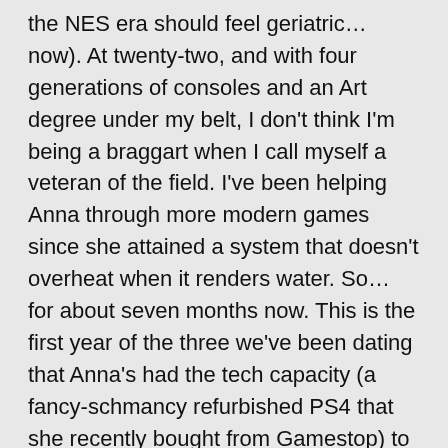the NES era should feel geriatric… now). At twenty-two, and with four generations of consoles and an Art degree under my belt, I don't think I'm being a braggart when I call myself a veteran of the field. I've been helping Anna through more modern games since she attained a system that doesn't overheat when it renders water. So… for about seven months now. This is the first year of the three we've been dating that Anna's had the tech capacity (a fancy-schmancy refurbished PS4 that she recently bought from Gamestop) to get excited about new games as much as I do. She's recently been chasing writing about them for the website—and E3, the mighty vidja game Olympics—happened over the weekend.
Add game snob boyfriend, late night writing, and shake: boom, instant start to an article series.
So, without further slow and chunky exposition, I'm going to